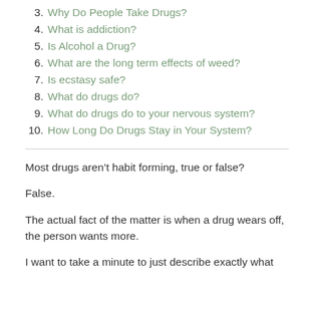3. Why Do People Take Drugs?
4. What is addiction?
5. Is Alcohol a Drug?
6. What are the long term effects of weed?
7. Is ecstasy safe?
8. What do drugs do?
9. What do drugs do to your nervous system?
10. How Long Do Drugs Stay in Your System?
Most drugs aren’t habit forming, true or false?
False.
The actual fact of the matter is when a drug wears off, the person wants more.
I want to take a minute to just describe exactly what